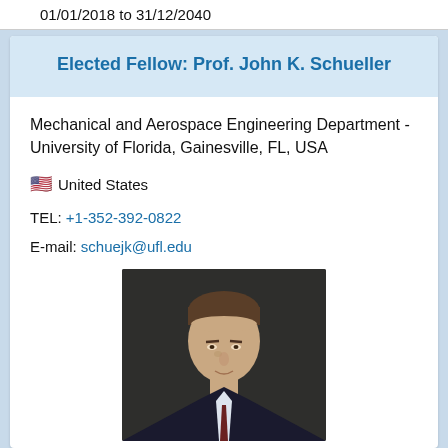01/01/2018 to 31/12/2040
Elected Fellow: Prof. John K. Schueller
Mechanical and Aerospace Engineering Department - University of Florida, Gainesville, FL, USA
🇺🇸 United States
TEL: +1-352-392-0822
E-mail: schuejk@ufl.edu
[Figure (photo): Portrait photo of Prof. John K. Schueller, a middle-aged man in a dark suit against a dark background]